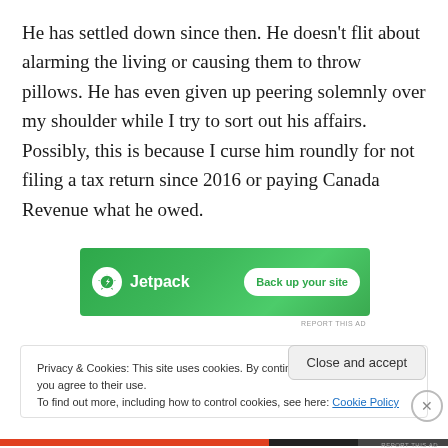He has settled down since then. He doesn't flit about alarming the living or causing them to throw pillows. He has even given up peering solemnly over my shoulder while I try to sort out his affairs. Possibly, this is because I curse him roundly for not filing a tax return since 2016 or paying Canada Revenue what he owed.
[Figure (other): Jetpack advertisement banner with green background, Jetpack logo (lightning bolt icon) and 'Back up your site' button]
REPORT THIS AD
Privacy & Cookies: This site uses cookies. By continuing to use this website, you agree to their use.
To find out more, including how to control cookies, see here: Cookie Policy
Close and accept